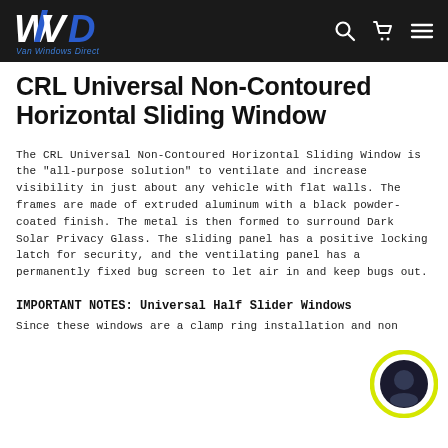Van Windows Direct — site header with logo and nav icons
CRL Universal Non-Contoured Horizontal Sliding Window
The CRL Universal Non-Contoured Horizontal Sliding Window is the "all-purpose solution" to ventilate and increase visibility in just about any vehicle with flat walls. The frames are made of extruded aluminum with a black powder-coated finish. The metal is then formed to surround Dark Solar Privacy Glass. The sliding panel has a positive locking latch for security, and the ventilating panel has a permanently fixed bug screen to let air in and keep bugs out.
IMPORTANT NOTES: Universal Half Slider Windows
Since these windows are a clamp ring installation and non